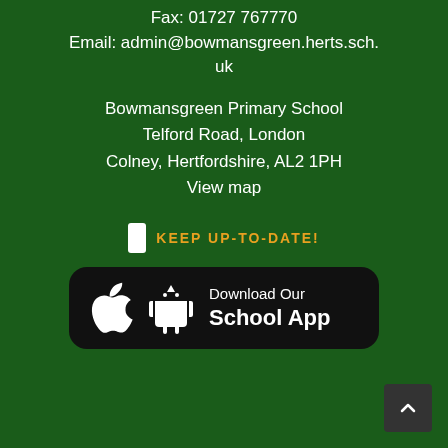Fax: 01727 767770
Email: admin@bowmansgreen.herts.sch.uk
Bowmansgreen Primary School
Telford Road, London Colney, Hertfordshire, AL2 1PH
View map
KEEP UP-TO-DATE!
[Figure (other): Download Our School App badge with Apple and Android icons on black rounded rectangle background]
[Figure (other): Back to top button — dark square with upward chevron arrow]